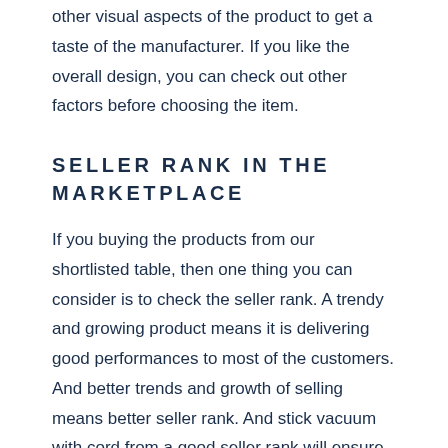other visual aspects of the product to get a taste of the manufacturer. If you like the overall design, you can check out other factors before choosing the item.
SELLER RANK IN THE MARKETPLACE
If you buying the products from our shortlisted table, then one thing you can consider is to check the seller rank. A trendy and growing product means it is delivering good performances to most of the customers.
And better trends and growth of selling means better seller rank. And stick vacuum with cord from a good seller rank will ensure not only good quality of